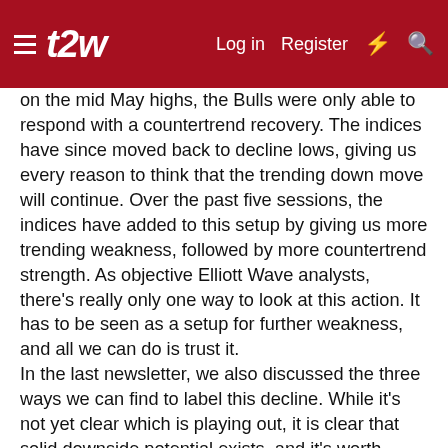t2w | Log in | Register
on the mid May highs, the Bulls were only able to respond with a countertrend recovery. The indices have since moved back to decline lows, giving us every reason to think that the trending down move will continue. Over the past five sessions, the indices have added to this setup by giving us more trending weakness, followed by more countertrend strength. As objective Elliott Wave analysts, there's really only one way to look at this action. It has to be seen as a setup for further weakness, and all we can do is trust it. In the last newsletter, we also discussed the three ways we can find to label this decline. While it's not yet clear which is playing out, it is clear that solid downside potential exists, and it's worth respecting. Our third topic of conversation looked at the larger degrees of trend, and how this growing decline is looking more and more like a correction of the entire 2009 advance.